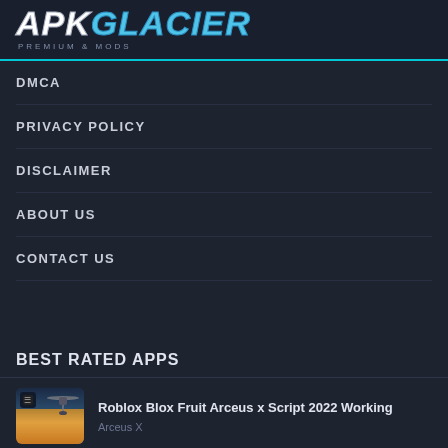APK GLACIER — PREMIUM & MODS
DMCA
PRIVACY POLICY
DISCLAIMER
ABOUT US
CONTACT US
BEST RATED APPS
Roblox Blox Fruit Arceus x Script 2022 Working
Arceus X